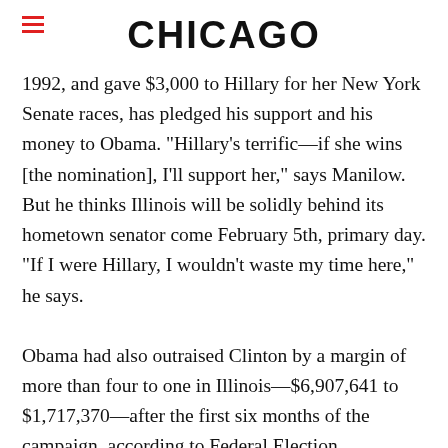CHICAGO
1992, and gave $3,000 to Hillary for her New York Senate races, has pledged his support and his money to Obama. "Hillary's terrific—if she wins [the nomination], I'll support her," says Manilow. But he thinks Illinois will be solidly behind its hometown senator come February 5th, primary day. "If I were Hillary, I wouldn't waste my time here," he says.
Obama had also outraised Clinton by a margin of more than four to one in Illinois—$6,907,641 to $1,717,370—after the first six months of the campaign, according to Federal Election Commission records. (By comparison, Clinton held a little more than a two-to-one fundraising edge in